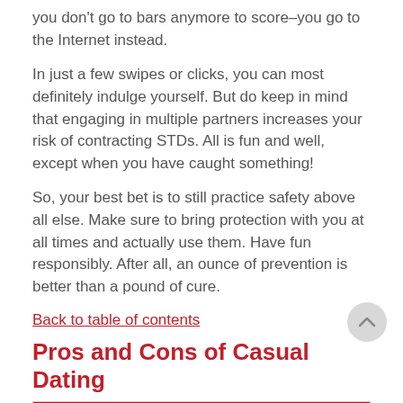you don't go to bars anymore to score—you go to the Internet instead.
In just a few swipes or clicks, you can most definitely indulge yourself. But do keep in mind that engaging in multiple partners increases your risk of contracting STDs. All is fun and well, except when you have caught something!
So, your best bet is to still practice safety above all else. Make sure to bring protection with you at all times and actually use them. Have fun responsibly. After all, an ounce of prevention is better than a pound of cure.
Back to table of contents
Pros and Cons of Casual Dating
| Pros |
| --- |
| Your social calendar will never be empty. |